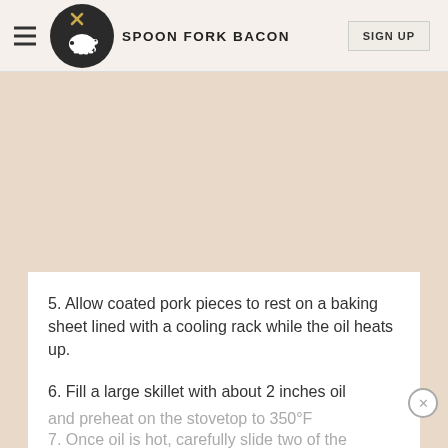SPOON FORK BACON
[Figure (logo): Spoon Fork Bacon logo: dark circle with white pig silhouette and crossed spoon and fork above]
5. Allow coated pork pieces to rest on a baking sheet lined with a cooling rack while the oil heats up.
6. Fill a large skillet with about 2 inches oil and preheat on the stovetop to 350°F
7. Once oil is hot, carefully slide two of the